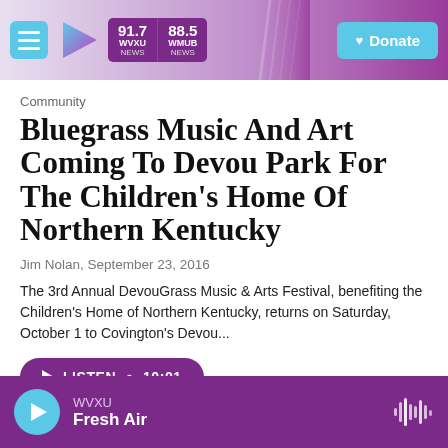91.7 WVXU NEWS | 88.5 WMUB NEWS | Donate
Community
Bluegrass Music And Art Coming To Devou Park For The Children's Home Of Northern Kentucky
Jim Nolan,  September 23, 2016
The 3rd Annual DevouGrass Music & Arts Festival, benefiting the Children's Home of Northern Kentucky, returns on Saturday, October 1 to Covington's Devou...
LISTEN • 10:01
WVXU Fresh Air